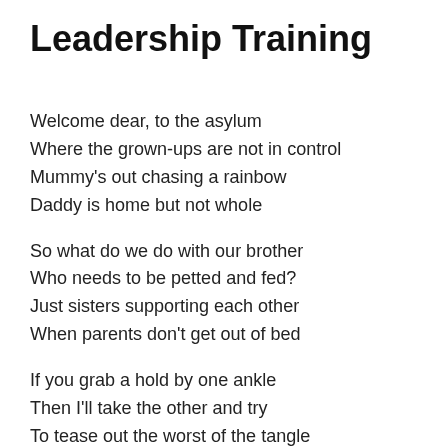Leadership Training
Welcome dear, to the asylum
Where the grown-ups are not in control
Mummy's out chasing a rainbow
Daddy is home but not whole
So what do we do with our brother
Who needs to be petted and fed?
Just sisters supporting each other
When parents don't get out of bed
If you grab a hold by one ankle
Then I'll take the other and try
To tease out the worst of the tangle
Then soap, rinse and powder him dry